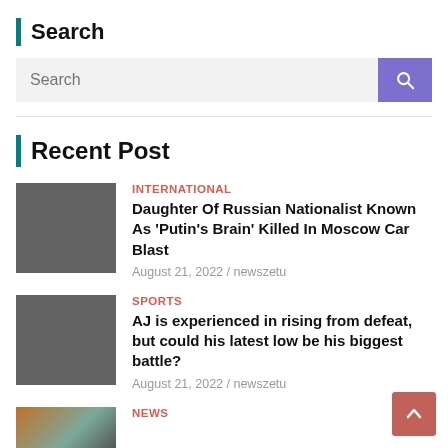Search
[Figure (screenshot): Search input box with a light gray background and a purple search button with a magnifying glass icon on the right]
Recent Post
[Figure (photo): Dark gray thumbnail image for first post]
INTERNATIONAL
Daughter Of Russian Nationalist Known As ‘Putin’s Brain’ Killed In Moscow Car Blast
August 21, 2022 / newszetu
[Figure (photo): Dark gray thumbnail image for second post]
SPORTS
AJ is experienced in rising from defeat, but could his latest low be his biggest battle?
August 21, 2022 / newszetu
[Figure (photo): Partial thumbnail image with warm tones for third post]
NEWS